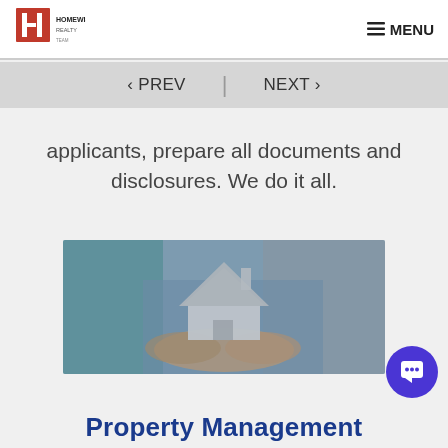MENU
[Figure (logo): HomeWise Realty logo with red H icon]
‹ PREV | NEXT ›
applicants, prepare all documents and disclosures. We do it all.
[Figure (photo): Multiple people holding a small white house model in their hands — a property management concept photo with blue/teal color tones]
Property Management